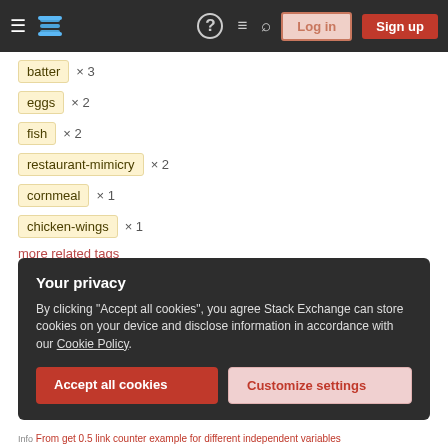Stack Exchange navigation bar with hamburger menu, logo, help, chat, search icons, Log in and Sign up buttons
batter × 3
eggs × 2
fish × 2
restaurant-mimicry × 2
cornmeal × 1
chicken-wings × 1
more related tags
Hot Network Questions
Your privacy
By clicking "Accept all cookies", you agree Stack Exchange can store cookies on your device and disclose information in accordance with our Cookie Policy.
Accept all cookies   Customize settings